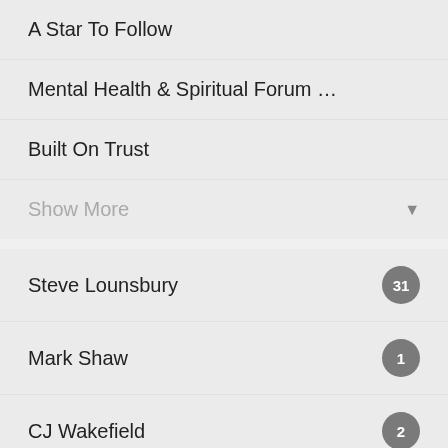A Star To Follow
Mental Health & Spiritual Forum …
Built On Trust
Show More
Steve Lounsbury  31
Mark Shaw  1
CJ Wakefield  2
Ben Blaufarb  2
CJ & Sheree Wakefield  1
Kene Izuchukwu  11